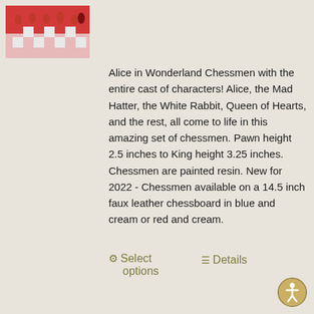[Figure (photo): Chess pieces from Alice in Wonderland set, painted resin figures with red and white pieces on a chessboard, photo thumbnail in top left corner]
Alice in Wonderland Chessmen with the entire cast of characters!  Alice, the Mad Hatter, the White Rabbit, Queen of Hearts, and the rest, all come to life in this amazing set of chessmen.  Pawn height 2.5 inches to King height 3.25 inches.  Chessmen are painted resin.  New for 2022 - Chessmen available on a 14.5 inch faux leather chessboard in blue and cream or red and cream.
⚙ Select options
≡ Details